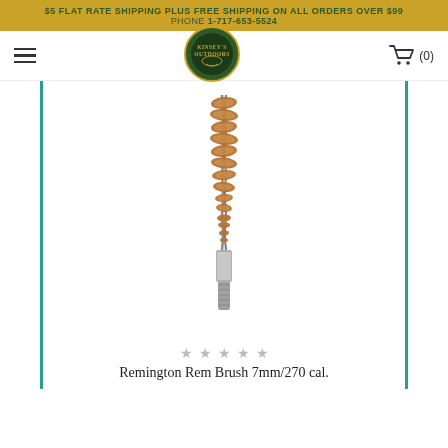$5 FLAT RATE SHIPPING PLUS FREE SHIPPING ON ALL ORDERS OVER $99
PHONE 1-717-653-5524
[Figure (logo): Kinsey's Outdoors circular logo in green and gold]
[Figure (photo): A Remington bronze bore brush for 7mm/270 caliber with metal threaded adapter at bottom]
★ ★ ★ ★ ★
Remington Rem Brush 7mm/270 cal.